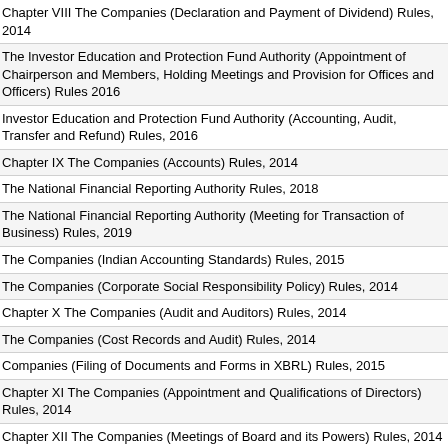Chapter VIII The Companies (Declaration and Payment of Dividend) Rules, 2014
The Investor Education and Protection Fund Authority (Appointment of Chairperson and Members, Holding Meetings and Provision for Offices and Officers) Rules 2016
Investor Education and Protection Fund Authority (Accounting, Audit, Transfer and Refund) Rules, 2016
Chapter IX The Companies (Accounts) Rules, 2014
The National Financial Reporting Authority Rules, 2018
The National Financial Reporting Authority (Meeting for Transaction of Business) Rules, 2019
The Companies (Indian Accounting Standards) Rules, 2015
The Companies (Corporate Social Responsibility Policy) Rules, 2014
Chapter X The Companies (Audit and Auditors) Rules, 2014
The Companies (Cost Records and Audit) Rules, 2014
Companies (Filing of Documents and Forms in XBRL) Rules, 2015
Chapter XI The Companies (Appointment and Qualifications of Directors) Rules, 2014
Chapter XII The Companies (Meetings of Board and its Powers) Rules, 2014
Chapter XIII The Companies (Appointment and Remuneration of Managerial Personnel) Rules, 2014
Chapter XIV The Companies (Inspection, Investigation and Inquiry) Rules, 2014
Companies (Arrests in connection with Investigation by Serious Fraud